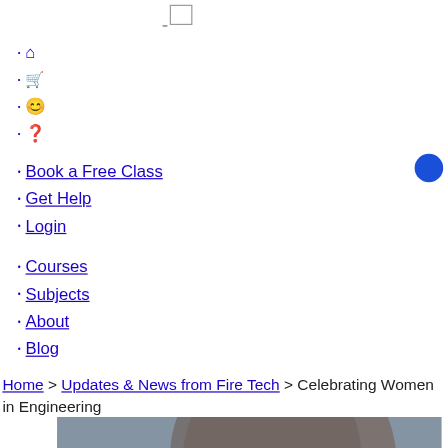[Figure (screenshot): Small search/browser UI element - square outline icon at top]
Home icon (house symbol)
Cart icon (shopping cart symbol)
Account icon (person/circle symbol)
Help icon (question mark circle symbol)
Book a Free Class
Get Help
Login
Courses
Subjects
About
Blog
Home > Updates & News from Fire Tech > Celebrating Women in Engineering
[Figure (photo): Partial photograph of a person's head/hair, partially cropped, with blue-grey background. reCAPTCHA badge visible in bottom right corner.]